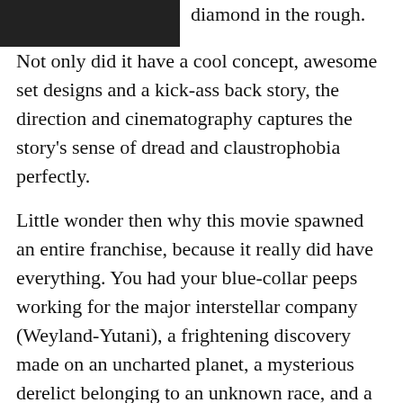[Figure (photo): Partial black and white image at the top left corner of the page, cropped.]
diamond in the rough. Not only did it have a cool concept, awesome set designs and a kick-ass back story, the direction and cinematography captures the story's sense of dread and claustrophobia perfectly.
Little wonder then why this movie spawned an entire franchise, because it really did have everything. You had your blue-collar peeps working for the major interstellar company (Weyland-Yutani), a frightening discovery made on an uncharted planet, a mysterious derelict belonging to an unknown race, and a terrifying creature awakened from its slumber. And not just any kind of creature, but a complex symbiote that was designed for and possessed of a single purpose.
Or as Ash put it: “Perfect organism. Its structural